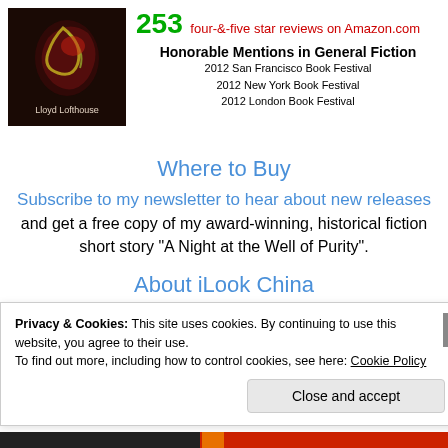[Figure (illustration): Book cover with dark background, dragon or creature illustration, text 'Lloyd Lofthouse']
253 four-&-five star reviews on Amazon.com
Honorable Mentions in General Fiction
2012 San Francisco Book Festival
2012 New York Book Festival
2012 London Book Festival
Where to Buy
Subscribe to my newsletter to hear about new releases and get a free copy of my award-winning, historical fiction short story “A Night at the Well of Purity”.
About iLook China
Advertisements
Privacy & Cookies: This site uses cookies. By continuing to use this website, you agree to their use.
To find out more, including how to control cookies, see here: Cookie Policy
Close and accept